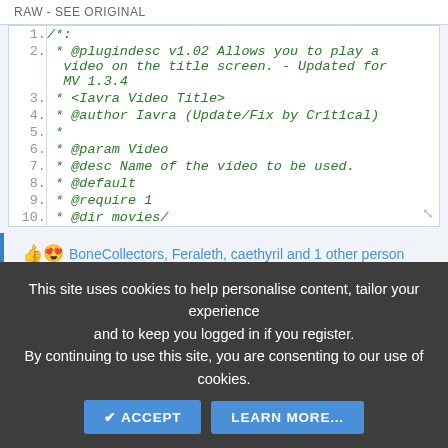RAW - SEE ORIGINAL
[Figure (screenshot): Code editor showing lines 1-10 of a JavaScript plugin file with green monospace italic text on white background. Line 1: /*: Line 2: * @plugindesc v1.02 Allows you to play a video on the title screen. - Updated for MV 1.3.4 Line 3: * <Iavra Video Title> Line 4: * @author Iavra (Update/Fix by Cr1t1cal) Line 5: * Line 6: * @param Video Line 7: * @desc Name of the video to be used. Line 8: * @default Line 9: * @require 1 Line 10: * @dir movies/]
BoneCollectors, Feraleth, caethyril and 1 other person
This site uses cookies to help personalise content, tailor your experience and to keep you logged in if you register. By continuing to use this site, you are consenting to our use of cookies.
ACCEPT   LEARN MORE...